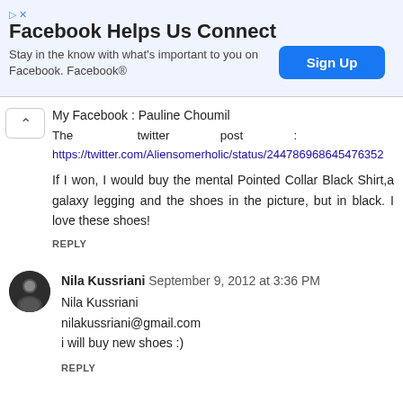[Figure (screenshot): Facebook advertisement banner: 'Facebook Helps Us Connect' with 'Sign Up' button]
My Facebook : Pauline Choumil
The twitter post :
https://twitter.com/Aliensomerholic/status/244786968645476352

If I won, I would buy the mental Pointed Collar Black Shirt,a galaxy legging and the shoes in the picture, but in black. I love these shoes!

REPLY
Nila Kussriani  September 9, 2012 at 3:36 PM
Nila Kussriani
nilakussriani@gmail.com
i will buy new shoes :)

REPLY